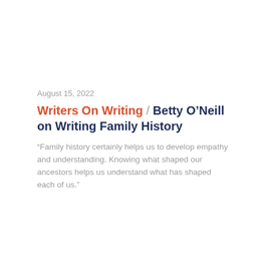August 15, 2022
Writers On Writing / Betty O'Neill on Writing Family History
“Family history certainly helps us to develop empathy and understanding. Knowing what shaped our ancestors helps us understand what has shaped each of us.”